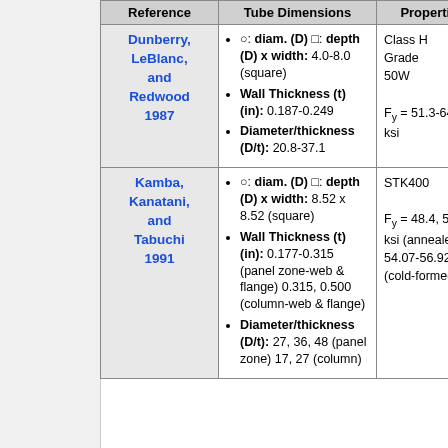| Reference | Tube Dimensions | Properties |
| --- | --- | --- |
| Dunberry, LeBlanc, and Redwood 1987 | ○: diam. (D) □: depth (D) x width: 4.0-8.0 (square) • Wall Thickness (t) (in): 0.187-0.249 • Diameter/thickness (D/t): 20.8-37.1 | Class H Grade 50W Fy = 51.3-64.3 ksi |
| Kamba, Kanatani, and Tabuchi 1991 | ○: diam. (D) □: depth (D) x width: 8.52 x 8.52 (square) • Wall Thickness (t) (in): 0.177-0.315 (panel zone-web & flange) 0.315, 0.500 (column-web & flange) • Diameter/thickness (D/t): 27, 36, 48 (panel zone) 17, 27 (column) | STK400 Fy = 48.4, 52.6 ksi (annealed) 54.07-56.92 ksi (cold-formed) |